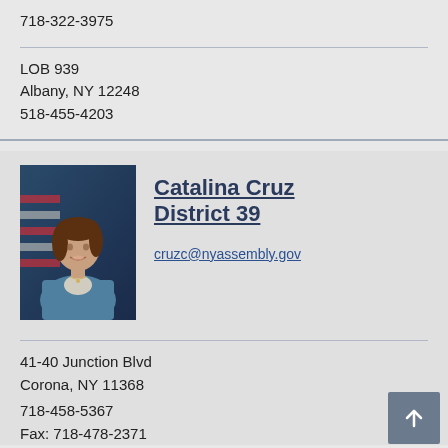718-322-3975
LOB 939
Albany, NY 12248
518-455-4203
[Figure (photo): Official portrait photo of Catalina Cruz, a woman with brown hair wearing a blue blazer, with an American flag in the background]
Catalina Cruz District 39
cruzc@nyassembly.gov
41-40 Junction Blvd
Corona, NY 11368
718-458-5367
Fax: 718-478-2371